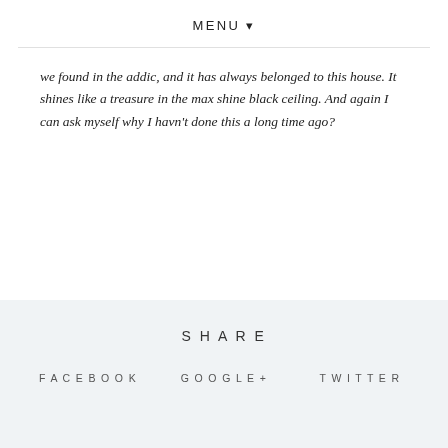MENU ▾
we found in the addic, and it has always belonged to this house. It shines like a treasure in the max shine black ceiling. And again I can ask myself why I havn't done this a long time ago?
SHARE
FACEBOOK
GOOGLE+
TWITTER